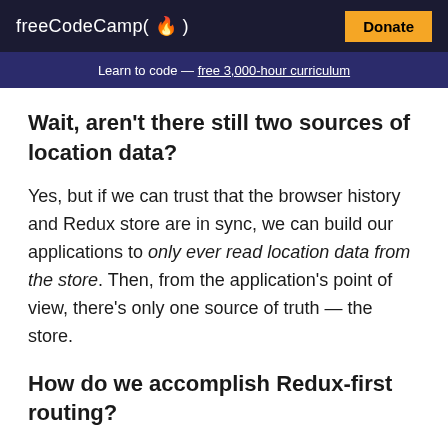freeCodeCamp(🔥)  Donate
Learn to code — free 3,000-hour curriculum
Wait, aren't there still two sources of location data?
Yes, but if we can trust that the browser history and Redux store are in sync, we can build our applications to only ever read location data from the store. Then, from the application's point of view, there's only one source of truth — the store.
How do we accomplish Redux-first routing?